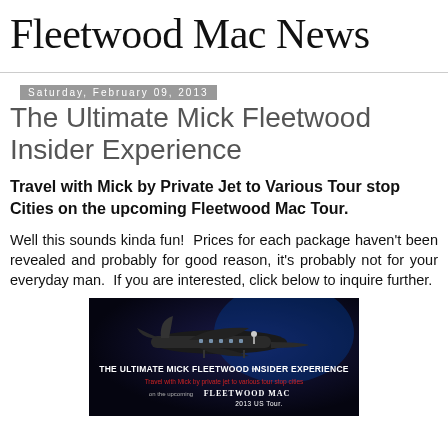Fleetwood Mac News
Saturday, February 09, 2013
The Ultimate Mick Fleetwood Insider Experience
Travel with Mick by Private Jet to Various Tour stop Cities on the upcoming Fleetwood Mac Tour.
Well this sounds kinda fun! Prices for each package haven't been revealed and probably for good reason, it's probably not for your everyday man. If you are interested, click below to inquire further.
[Figure (photo): Advertisement banner for The Ultimate Mick Fleetwood Insider Experience showing a private jet on dark background with red and white text reading: THE ULTIMATE MICK FLEETWOOD INSIDER EXPERIENCE — Travel with Mick by private jet to various tour stop cities on the upcoming FLEETWOOD MAC 2013 US Tour.]